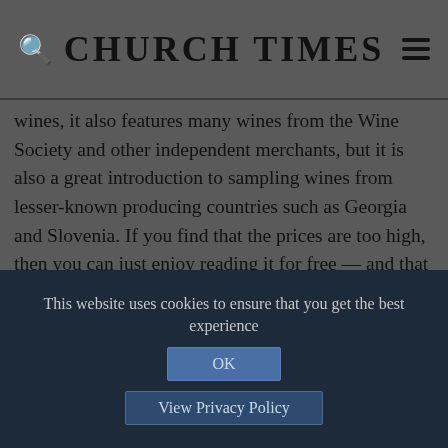CHURCH TIMES
wines, it also features many wines from the Wine Society and other independent merchants, but it is also a great introduction to sampling wines from lesser-known producing countries such as Georgia and Slovenia. If you find that the prices are too high, then you can just enjoy reading it for free — and that is the best bargain I can offer you this month.
[Figure (infographic): Row of five social share buttons: Facebook (blue), Twitter (light blue), Heart/Save (grey), Email (grey), Plus/More (red)]
This website uses cookies to ensure that you get the best experience
OK
View Privacy Policy